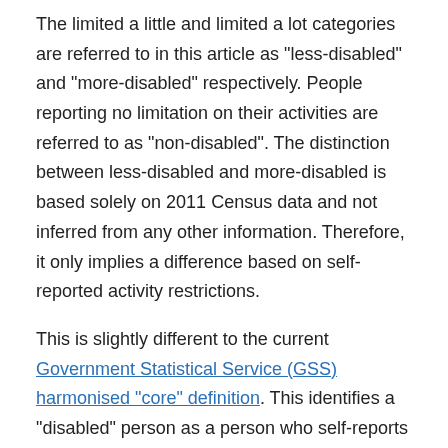The limited a little and limited a lot categories are referred to in this article as "less-disabled" and "more-disabled" respectively. People reporting no limitation on their activities are referred to as "non-disabled". The distinction between less-disabled and more-disabled is based solely on 2011 Census data and not inferred from any other information. Therefore, it only implies a difference based on self-reported activity restrictions.
This is slightly different to the current Government Statistical Service (GSS) harmonised "core" definition. This identifies a "disabled" person as a person who self-reports having a physical or mental health condition or illness that has lasted or is expected to